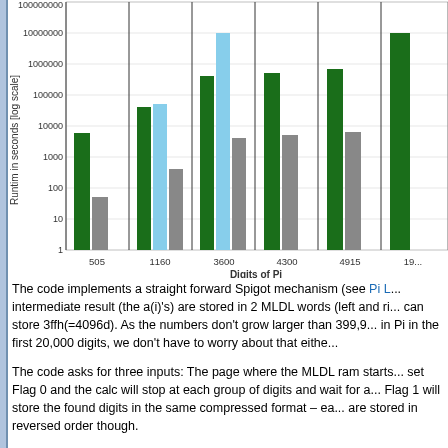[Figure (grouped-bar-chart): Runtime in seconds [log scale]]
The code implements a straight forward Spigot mechanism (see Pi L... intermediate result (the a(i)'s) are stored in 2 MLDL words (left and ri... can store 3ffh(=4096d). As the numbers don't grow larger than 399,9... in Pi in the first 20,000 digits, we don't have to worry about that eithe...
The code asks for three inputs: The page where the MLDL ram starts... set Flag 0 and the calc will stop at each group of digits and wait for a... Flag 1 will store the found digits in the same compressed format – ea... are stored in reversed order though.
Runtimes are quite accurately n^2 (see table 1 below). Actual run-tim... Times marked with (*) are extrapolated from existing times using a p...